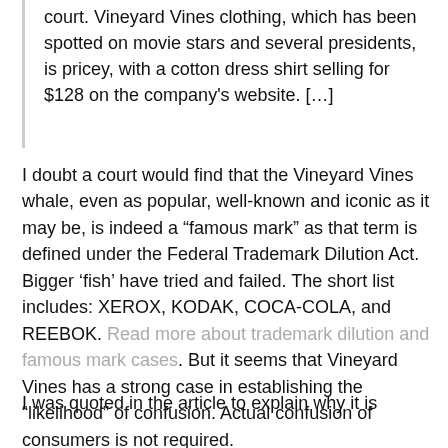court. Vineyard Vines clothing, which has been spotted on movie stars and several presidents, is pricey, with a cotton dress shirt selling for $128 on the company’s website. […]
I doubt a court would find that the Vineyard Vines whale, even as popular, well-known and iconic as it may be, is indeed a “famous mark” as that term is defined under the Federal Trademark Dilution Act. Bigger ‘fish’ have tried and failed. The short list includes: XEROX, KODAK, COCA-COLA, and REEBOK. Read more about trademark dilution and famous mark cases. But it seems that Vineyard Vines has a strong case in establishing the “likelihood” of confusion. Actual confusion of consumers is not required.
I was quoted in the article to explain why it is